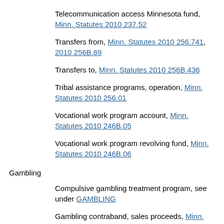Telecommunication access Minnesota fund, Minn. Statutes 2010 237.52
Transfers from, Minn. Statutes 2010 256.741, 2010 256B.69
Transfers to, Minn. Statutes 2010 256B.436
Tribal assistance programs, operation, Minn. Statutes 2010 256.01
Vocational work program account, Minn. Statutes 2010 246B.05
Vocational work program revolving fund, Minn. Statutes 2010 246B.06
Gambling
Compulsive gambling treatment program, see under GAMBLING
Gambling contraband, sales proceeds, Minn. Statutes